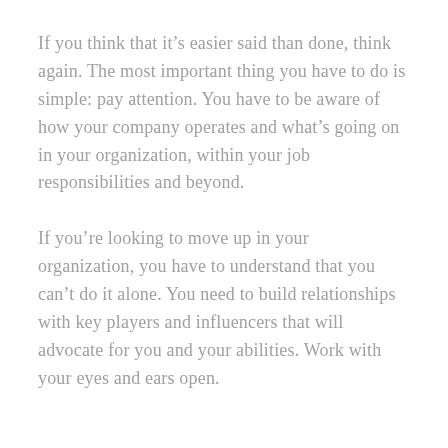If you think that it's easier said than done, think again. The most important thing you have to do is simple: pay attention. You have to be aware of how your company operates and what's going on in your organization, within your job responsibilities and beyond.
If you're looking to move up in your organization, you have to understand that you can't do it alone. You need to build relationships with key players and influencers that will advocate for you and your abilities. Work with your eyes and ears open.